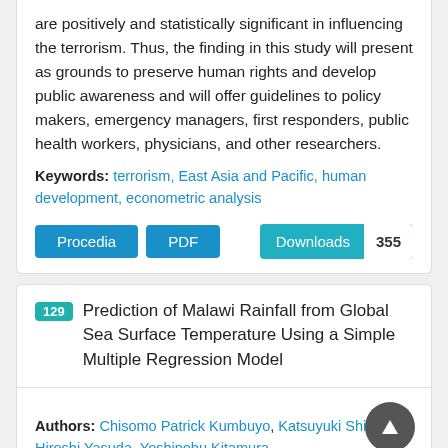are positively and statistically significant in influencing the terrorism. Thus, the finding in this study will present as grounds to preserve human rights and develop public awareness and will offer guidelines to policy makers, emergency managers, first responders, public health workers, physicians, and other researchers.
Keywords: terrorism, East Asia and Pacific, human development, econometric analysis
Procedia  PDF  Downloads 355
129 Prediction of Malawi Rainfall from Global Sea Surface Temperature Using a Simple Multiple Regression Model
Authors: Chisomo Patrick Kumbuyo, Katsuyuki Shimizu, Hiroshi Yasuda, Yoshinobu Kitamura